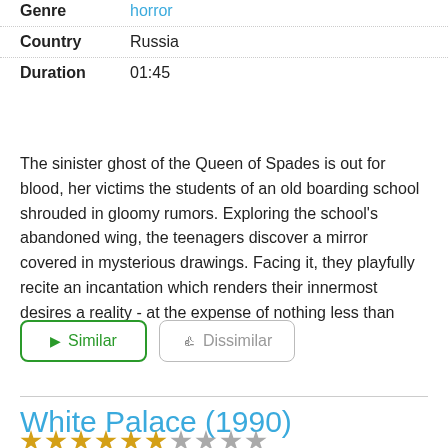| Field | Value |
| --- | --- |
| Genre | horror |
| Country | Russia |
| Duration | 01:45 |
The sinister ghost of the Queen of Spades is out for blood, her victims the students of an old boarding school shrouded in gloomy rumors. Exploring the school's abandoned wing, the teenagers discover a mirror covered in mysterious drawings. Facing it, they playfully recite an incantation which renders their innermost desires a reality - at the expense of nothing less than their souls.
Similar | Dissimilar (buttons)
White Palace (1990)
[Figure (other): Star rating icons — gold and gray stars]